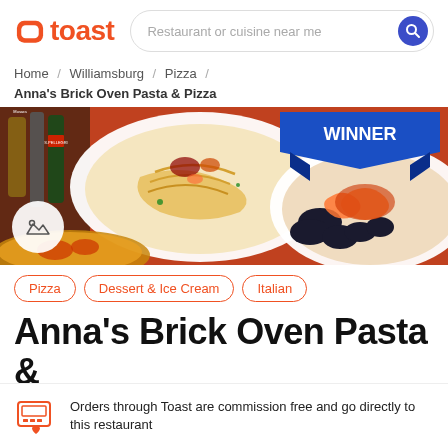toast — Restaurant or cuisine near me
Home / Williamsburg / Pizza / Anna's Brick Oven Pasta & Pizza
[Figure (photo): Restaurant food photo showing pasta dishes and seafood on plates against an orange background. A blue ribbon badge reads WINNER in the top right corner. A camera/photo icon is visible in the lower left.]
Pizza
Dessert & Ice Cream
Italian
Anna's Brick Oven Pasta &
Orders through Toast are commission free and go directly to this restaurant